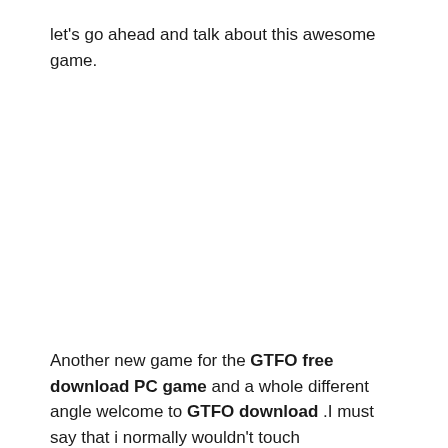let's go ahead and talk about this awesome game.
Another new game for the GTFO free download PC game and a whole different angle welcome to GTFO download .I must say that i normally wouldn't touch